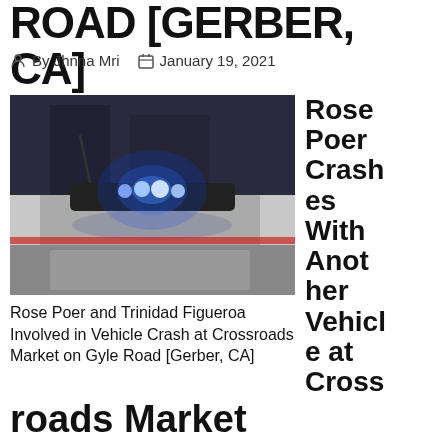ROAD [GERBER, CA]
By Jhnna Mri   January 19, 2021
[Figure (photo): Police car with blue emergency lights flashing at night]
Rose Poer Crashes With Another Vehicle at Cross
Rose Poer and Trinidad Figueroa Involved in Vehicle Crash at Crossroads Market on Gyle Road [Gerber, CA]
roads Market